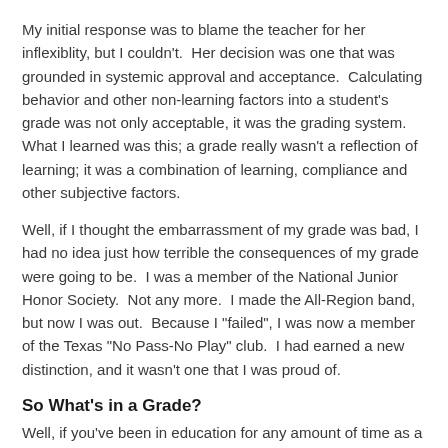My initial response was to blame the teacher for her inflexiblity, but I couldn't.  Her decision was one that was grounded in systemic approval and acceptance.  Calculating behavior and other non-learning factors into a student's grade was not only acceptable, it was the grading system.  What I learned was this; a grade really wasn't a reflection of learning; it was a combination of learning, compliance and other subjective factors.
Well, if I thought the embarrassment of my grade was bad, I had no idea just how terrible the consequences of my grade were going to be.  I was a member of the National Junior Honor Society.  Not any more.  I made the All-Region band, but now I was out.  Because I "failed", I was now a member of the Texas "No Pass-No Play" club.  I had earned a new distinction, and it wasn't one that I was proud of.
So What's in a Grade?
Well, if you've been in education for any amount of time as a teacher, student or parent, you've asked this question at